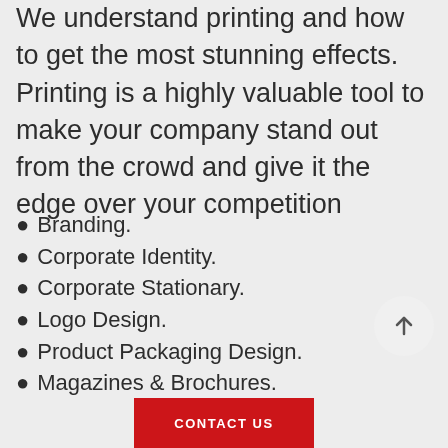We understand printing and how to get the most stunning effects. Printing is a highly valuable tool to make your company stand out from the crowd and give it the edge over your competition
Branding.
Corporate Identity.
Corporate Stationary.
Logo Design.
Product Packaging Design.
Magazines & Brochures.
[Figure (other): Circular scroll-to-top button with upward arrow]
CONTACT US